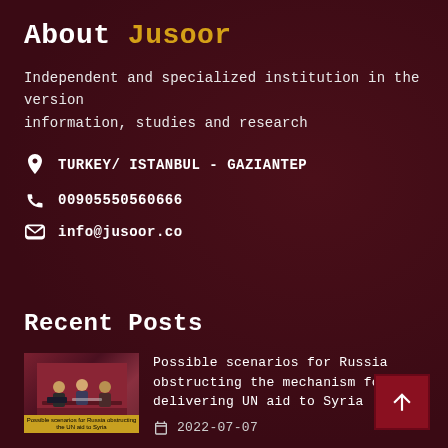About Jusoor
Independent and specialized institution in the version information, studies and research
TURKEY/ ISTANBUL - GAZIANTEP
00905550560666
info@jusoor.co
Recent Posts
Possible scenarios for Russia obstructing the mechanism for delivering UN aid to Syria
2022-07-07
[Figure (photo): Thumbnail image of people sitting at a table for a meeting or conference, with a yellow banner at the bottom]